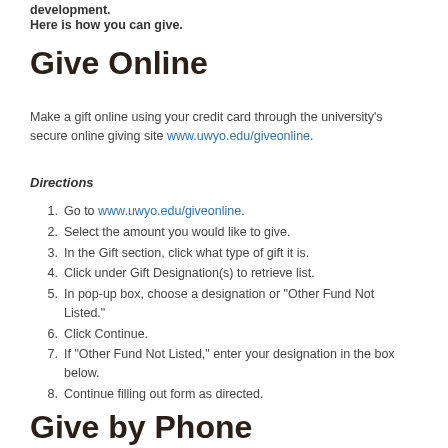development.
Here is how you can give.
Give Online
Make a gift online using your credit card through the university's secure online giving site www.uwyo.edu/giveonline.
Directions
Go to www.uwyo.edu/giveonline.
Select the amount you would like to give.
In the Gift section, click what type of gift it is.
Click under Gift Designation(s) to retrieve list.
In pop-up box, choose a designation or "Other Fund Not Listed."
Click Continue.
If "Other Fund Not Listed," enter your designation in the box below.
Continue filling out form as directed.
Give by Phone